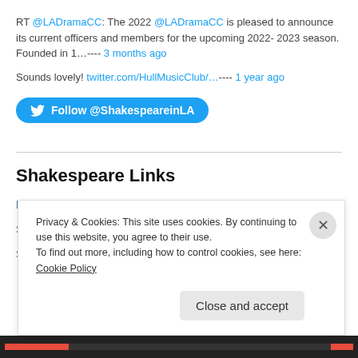RT @LADramaCC: The 2022 @LADramaCC is pleased to announce its current officers and members for the upcoming 2022- 2023 season. Founded in 1…---- 3 months ago
Sounds lovely! twitter.com/HullMusicClub/…---- 1 year ago
[Figure (other): Follow @ShakespeareinLA Twitter button]
Shakespeare Links
Bard Film
San Diego Shakespeare Society
Shakespeare & Company
Privacy & Cookies: This site uses cookies. By continuing to use this website, you agree to their use. To find out more, including how to control cookies, see here: Cookie Policy
Close and accept